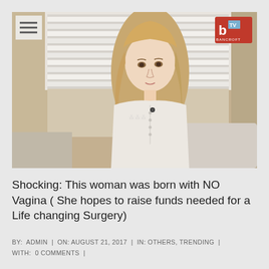[Figure (screenshot): Video thumbnail from Bancroft TV showing a young woman with long blonde hair seated on a sofa in front of window blinds, wearing a white lace top. A hamburger menu icon is in the top-left and the Bancroft TV logo (red box with 'b' and 'TV' and 'BANCROFT' text) is in the top-right corner.]
Shocking: This woman was born with NO Vagina ( She hopes to raise funds needed for a Life changing Surgery)
BY: ADMIN | ON: AUGUST 21, 2017 | IN: OTHERS, TRENDING | WITH: 0 COMMENTS |